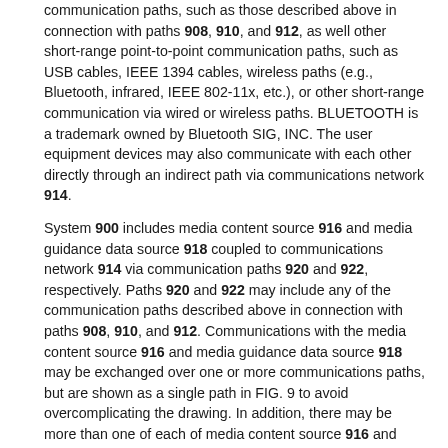communication paths, such as those described above in connection with paths 908, 910, and 912, as well other short-range point-to-point communication paths, such as USB cables, IEEE 1394 cables, wireless paths (e.g., Bluetooth, infrared, IEEE 802-11x, etc.), or other short-range communication via wired or wireless paths. BLUETOOTH is a trademark owned by Bluetooth SIG, INC. The user equipment devices may also communicate with each other directly through an indirect path via communications network 914.
System 900 includes media content source 916 and media guidance data source 918 coupled to communications network 914 via communication paths 920 and 922, respectively. Paths 920 and 922 may include any of the communication paths described above in connection with paths 908, 910, and 912. Communications with the media content source 916 and media guidance data source 918 may be exchanged over one or more communications paths, but are shown as a single path in FIG. 9 to avoid overcomplicating the drawing. In addition, there may be more than one of each of media content source 916 and media guidance data source 918, but only one of each is shown in FIG. 9 to avoid overcomplicating the drawing. (The different types of each of these sources are discussed below.) If desired, media content source 916 and media guidance data source 918 may be integrated as one source device. Although communications between sources 916 and 918 with user equipment